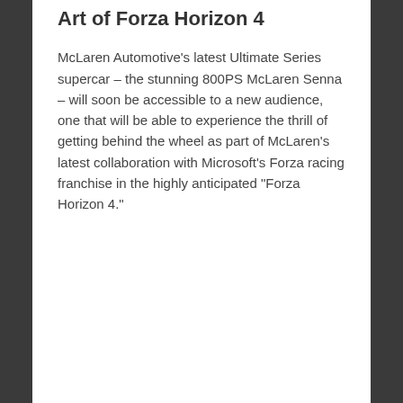Art of Forza Horizon 4
McLaren Automotive’s latest Ultimate Series supercar – the stunning 800PS McLaren Senna – will soon be accessible to a new audience, one that will be able to experience the thrill of getting behind the wheel as part of McLaren’s latest collaboration with Microsoft’s Forza racing franchise in the highly anticipated “Forza Horizon 4.”